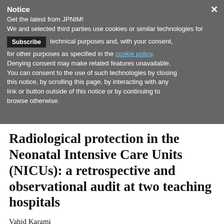Notice
Get the latest from JPNIM!
We and selected third parties use cookies or similar technologies for technical purposes and, with your consent, for other purposes as specified in the cookie policy. Denying consent may make related features unavailable. You can consent to the use of such technologies by closing this notice, by scrolling this page, by interacting with any link or button outside of this notice or by continuing to browse otherwise.
VOL. 8 NO. 1 (2019) ARTICLES
Radiological protection in the Neonatal Intensive Care Units (NICUs): a retrospective and observational audit at two teaching hospitals
Vahid Karami
Student Research Committee, Dezful University of Medical Sciences, Dezful, Iran